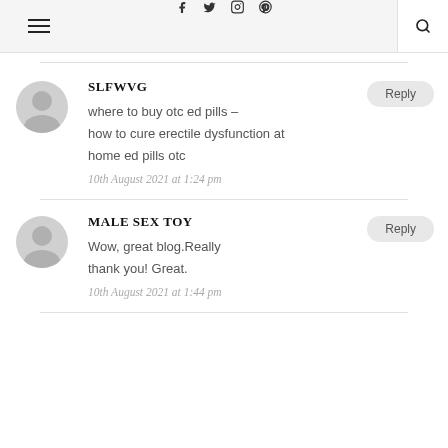[Figure (screenshot): Website header bar with hamburger menu icon on left, social media icons (Facebook, Twitter, Instagram, Pinterest) in center, and search icon on right in a separate white box]
SLFWVG
where to buy otc ed pills – how to cure erectile dysfunction at home ed pills otc
10th August 2021 at 1:24 pm
MALE SEX TOY
Wow, great blog.Really thank you! Great.
10th August 2021 at 1:44 pm